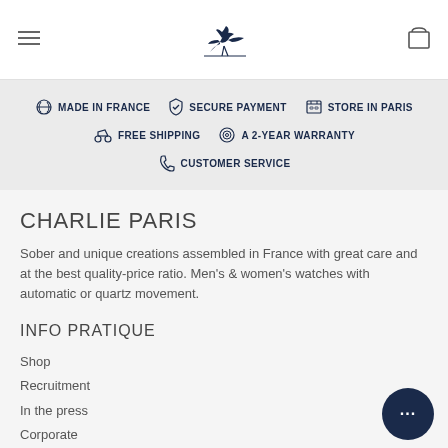[Figure (logo): Charlie Paris brand logo — dark navy heron/bird in flight above a horizontal line, used as website header logo]
MADE IN FRANCE  SECURE PAYMENT  STORE IN PARIS  FREE SHIPPING  A 2-YEAR WARRANTY  CUSTOMER SERVICE
CHARLIE PARIS
Sober and unique creations assembled in France with great care and at the best quality-price ratio. Men's & women's watches with automatic or quartz movement.
INFO PRATIQUE
Shop
Recruitment
In the press
Corporate